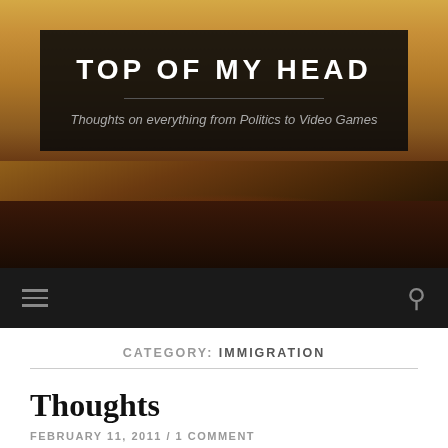[Figure (photo): Sunset sky background with warm orange and golden tones, dark horizon at bottom]
TOP OF MY HEAD
Thoughts on everything from Politics to Video Games
Navigation bar with hamburger menu and search icon
CATEGORY: IMMIGRATION
Thoughts
FEBRUARY 11, 2011 / 1 COMMENT
I'm sure you've heard about the New York Congressman